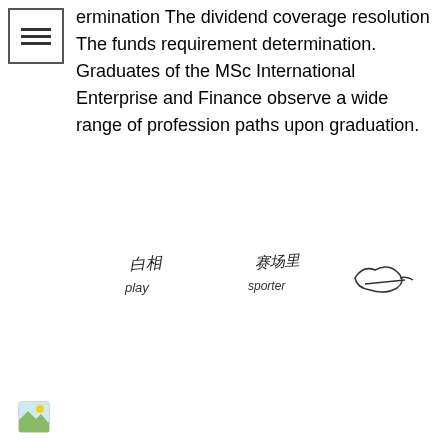[Figure (other): Menu/list icon with three horizontal lines in a bordered box]
ermination The dividend coverage resolution The funds requirement determination. Graduates of the MSc International Enterprise and Finance observe a wide range of profession paths upon graduation.
[Figure (illustration): Three handwritten Chinese character annotations with romanized labels: 白相 (play), 赛场里 (sporter), and a third illegible signature/stamp]
[Figure (illustration): Small image icon at the bottom left corner of the page]